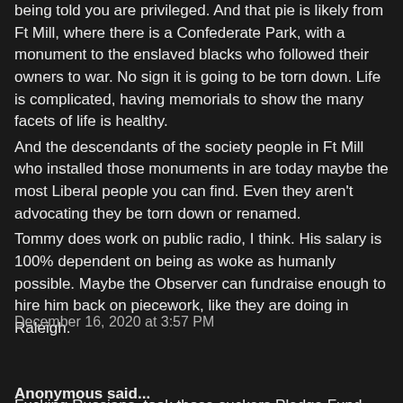being told you are privileged. And that pie is likely from Ft Mill, where there is a Confederate Park, with a monument to the enslaved blacks who followed their owners to war. No sign it is going to be torn down. Life is complicated, having memorials to show the many facets of life is healthy.
And the descendants of the society people in Ft Mill who installed those monuments in are today maybe the most Liberal people you can find. Even they aren't advocating they be torn down or renamed.
Tommy does work on public radio, I think. His salary is 100% dependent on being as woke as humanly possible. Maybe the Observer can fundraise enough to hire him back on piecework, like they are doing in Raleigh.
December 16, 2020 at 3:57 PM
Anonymous said...
Fucking Russians, took those suckers Pledge Fund